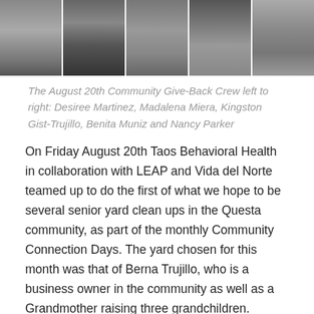[Figure (photo): A photo strip showing multiple people (community give-back crew) working outdoors, cropped at top of page showing lower portions of people standing.]
The August 20th Community Give-Back Crew left to right: Desiree Martinez, Madalena Miera, Kingston Gist-Trujillo, Benita Muniz and Nancy Parker
On Friday August 20th Taos Behavioral Health in collaboration with LEAP and Vida del Norte teamed up to do the first of what we hope to be several senior yard clean ups in the Questa community, as part of the monthly Community Connection Days. The yard chosen for this month was that of Berna Trujillo, who is a business owner in the community as well as a Grandmother raising three grandchildren.
It was a pleasure to see not only her grandson Kingston Gist-Trujillo work to improve their yard but to also see